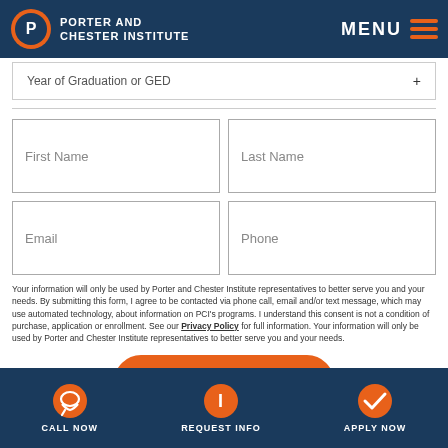[Figure (logo): Porter and Chester Institute logo with circular P&C emblem and text]
Year of Graduation or GED
First Name
Last Name
Email
Phone
Your information will only be used by Porter and Chester Institute representatives to better serve you and your needs. By submitting this form, I agree to be contacted via phone call, email and/or text message, which may use automated technology, about information on PCI's programs. I understand this consent is not a condition of purchase, application or enrollment. See our Privacy Policy for full information. Your information will only be used by Porter and Chester Institute representatives to better serve you and your needs.
Get Info
CALL NOW  REQUEST INFO  APPLY NOW